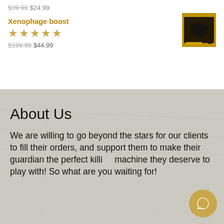$39.99 $24.99
Xenophage boost
[Figure (photo): Product image for Xenophage boost — dark yellow/black game cover thumbnail]
★★★★★
$199.99 $44.99
About Us
We are willing to go beyond the stars for our clients to fill their orders, and support them to make their guardian the perfect killing machine they deserve to play with! So what are you waiting for!